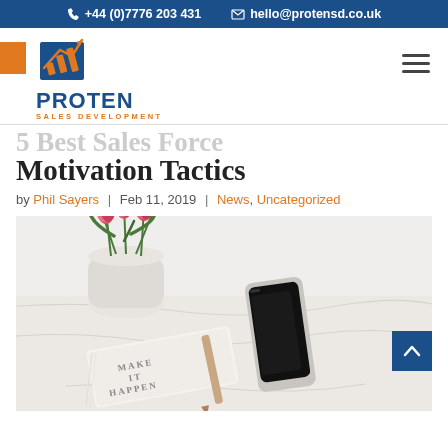+44 (0)7776 203 431  hello@protensd.co.uk
[Figure (logo): Proten Sales Development logo with orange and blue arrow chart icon, text PROTEN in dark blue and SALES DEVELOPMENT in orange below]
5 Best Sales Force Motivation Tactics
by Phil Sayers | Feb 11, 2019 | News, Uncategorized
[Figure (photo): Flat lay photo showing pink tulips in a white vase, a smartphone lying on a marble surface, and a notebook/journal with the text MAKE IT HAPPEN embossed on the cover]